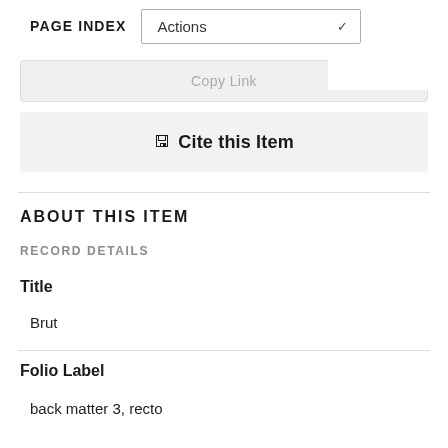PAGE INDEX | Actions
Copy Link
Cite this Item
ABOUT THIS ITEM
RECORD DETAILS
Title
Brut
Folio Label
back matter 3, recto